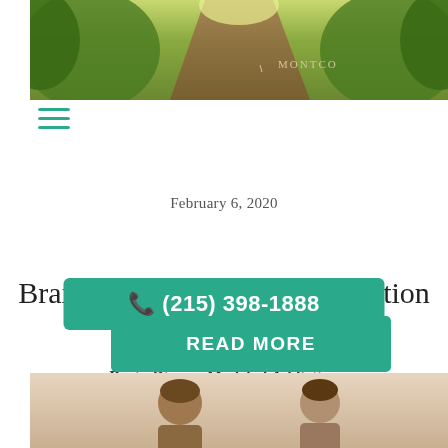[Figure (photo): Top banner photo showing a dirt path through green trees/foliage with MONTCO text overlay]
[Figure (other): Hamburger menu icon with three teal lines]
February 6, 2020
Brain Disease Model of Addiction
[Figure (other): Teal button with phone icon and number (215) 398-1888]
Brain Disease Model of Addiction
[Figure (other): Teal READ MORE button]
[Figure (photo): Bottom partial photo showing two people, appears to be a couple or two individuals in a warm-toned setting]